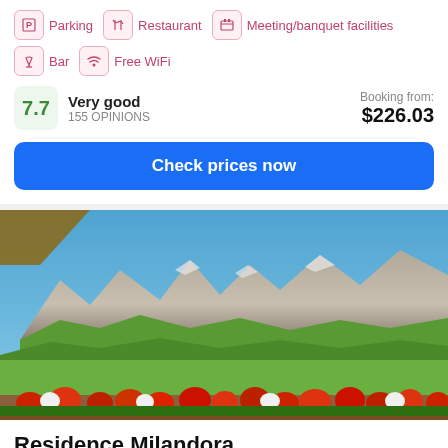Parking
Restaurant
Meeting/banquet facilities
Bar
Free WiFi
7.7  Very good  155 OPINIONS  Booking from: $226.03
Check prices now
[Figure (photo): Mountain landscape with red and white flowers in foreground, rocky alpine peaks and green meadows in background under blue sky, viewed from a balcony]
Residence Milandora